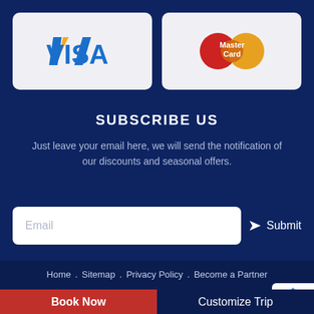[Figure (logo): VISA logo in blue and yellow/orange on light grey card background]
[Figure (logo): MasterCard logo with red and yellow overlapping circles on light grey card background]
SUBSCRIBE US
Just leave your email here, we will send the notification of our discounts and seasonal offers.
Email
Submit
Home . Sitemap . Privacy Policy . Become a Partner
© 2022 HimalayanWindows Pvt. Ltd. | All rights reserved
Book Now
Customize Trip